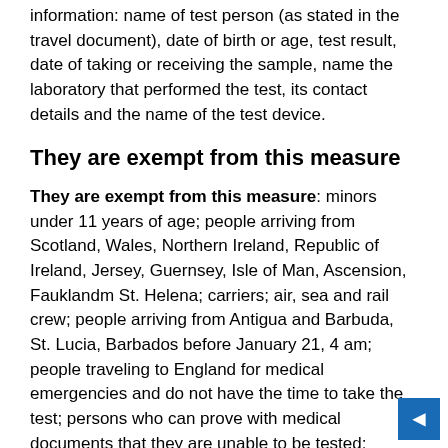information: name of test person (as stated in the travel document), date of birth or age, test result, date of taking or receiving the sample, name the laboratory that performed the test, its contact details and the name of the test device.
They are exempt from this measure
They are exempt from this measure: minors under 11 years of age; people arriving from Scotland, Wales, Northern Ireland, Republic of Ireland, Jersey, Guernsey, Isle of Man, Ascension, Fauklandm St. Helena; carriers; air, sea and rail crew; people arriving from Antigua and Barbuda, St. Lucia, Barbados before January 21, 4 am; people traveling to England for medical emergencies and do not have the time to take the test; persons who can prove with medical documents that they are unable to be tested; sailors master inspectors and surveyors of ships; specialist technical workers performing emergency work;